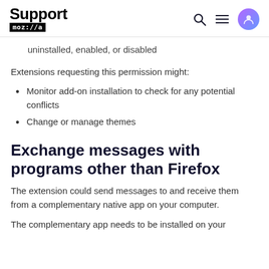Support moz://a
uninstalled, enabled, or disabled
Extensions requesting this permission might:
Monitor add-on installation to check for any potential conflicts
Change or manage themes
Exchange messages with programs other than Firefox
The extension could send messages to and receive them from a complementary native app on your computer.
The complementary app needs to be installed on your